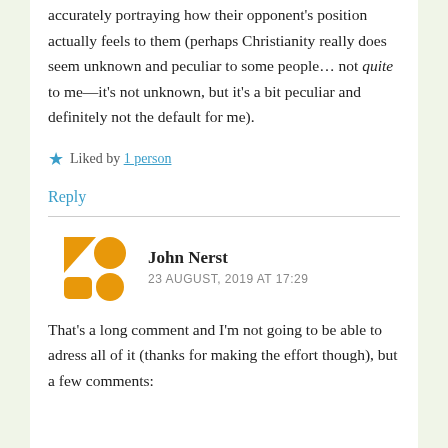accurately portraying how their opponent's position actually feels to them (perhaps Christianity really does seem unknown and peculiar to some people… not quite to me—it's not unknown, but it's a bit peculiar and definitely not the default for me).
★ Liked by 1 person
Reply
John Nerst
23 AUGUST, 2019 AT 17:29
That's a long comment and I'm not going to be able to adress all of it (thanks for making the effort though), but a few comments: